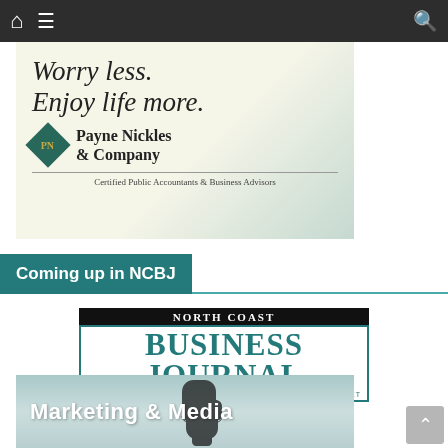[Figure (screenshot): Mobile app navigation bar with home icon, hamburger menu, and search icon on dark background]
[Figure (advertisement): Payne Nickles & Company advertisement with text 'Worry less. Enjoy more.' and company logo, Certified Public Accountants & Business Advisors]
Coming up in NCBJ
[Figure (logo): North Coast Business Journal logo with teal Business Journal text and www.ncbj.net website]
[Figure (illustration): Marketing & Media promotional image with cursor/hand pointer icon on teal gradient background]